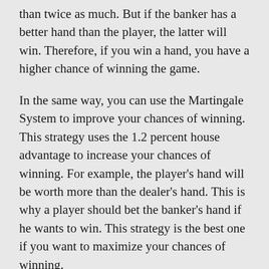than twice as much. But if the banker has a better hand than the player, the latter will win. Therefore, if you win a hand, you have a higher chance of winning the game.
In the same way, you can use the Martingale System to improve your chances of winning. This strategy uses the 1.2 percent house advantage to increase your chances of winning. For example, the player’s hand will be worth more than the dealer’s hand. This is why a player should bet the banker’s hand if he wants to win. This strategy is the best one if you want to maximize your chances of winning.